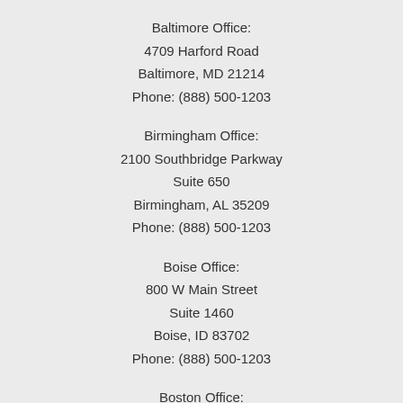Baltimore Office:
4709 Harford Road
Baltimore, MD 21214
Phone: (888) 500-1203
Birmingham Office:
2100 Southbridge Parkway
Suite 650
Birmingham, AL 35209
Phone: (888) 500-1203
Boise Office:
800 W Main Street
Suite 1460
Boise, ID 83702
Phone: (888) 500-1203
Boston Office: